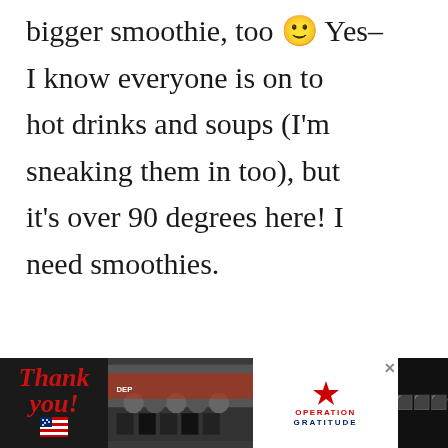bigger smoothie, too 🙂 Yes– I know everyone is on to hot drinks and soups (I'm sneaking them in too), but it's over 90 degrees here! I need smoothies.
Reply
[Figure (photo): Advertisement banner at bottom: 'Thank you!' text with American flag and pencil graphic on left, photo of firefighters in the middle, Operation Gratitude logo on right, close button and brand logo at far right.]